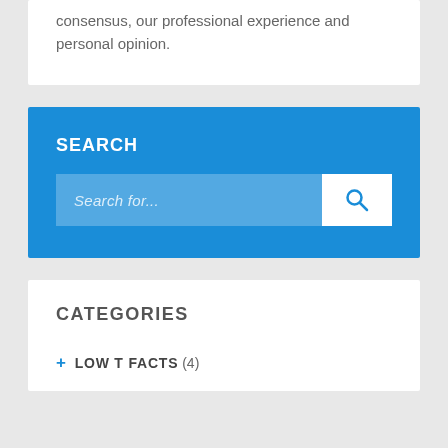consensus, our professional experience and personal opinion.
SEARCH
[Figure (other): Search bar widget with placeholder text 'Search for...' and a search button with magnifying glass icon on blue background]
CATEGORIES
+ LOW T FACTS (4)